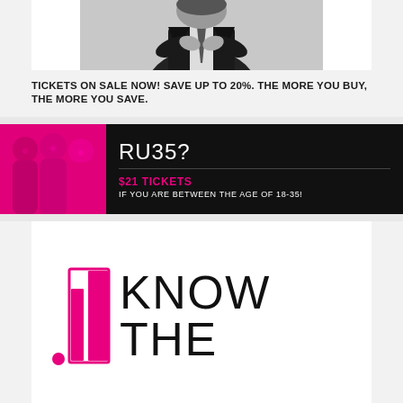[Figure (photo): Black and white photo of a person in a suit, partially visible at top]
TICKETS ON SALE NOW! SAVE UP TO 20%. THE MORE YOU BUY, THE MORE YOU SAVE.
[Figure (infographic): RU35 banner with pink photo of group of women on left, dark background on right with text: RU35?, $21 TICKETS, IF YOU ARE BETWEEN THE AGE OF 18-35!]
[Figure (logo): Know The logo with pink bar chart-style icon and the words KNOW THE in large black letters]